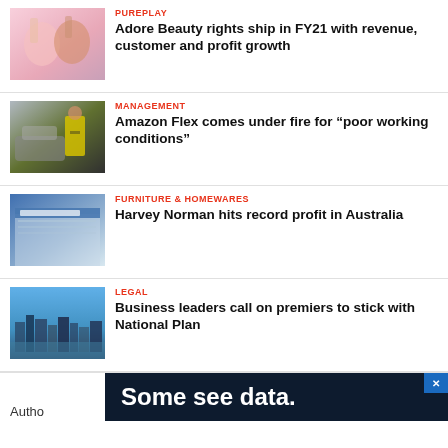[Figure (photo): Two women applying makeup, smiling]
PUREPLAY
Adore Beauty rights ship in FY21 with revenue, customer and profit growth
[Figure (photo): Delivery worker in yellow vest near vehicle, wearing mask]
MANAGEMENT
Amazon Flex comes under fire for “poor working conditions”
[Figure (photo): Harvey Norman store exterior with signage]
FURNITURE & HOMEWARES
Harvey Norman hits record profit in Australia
[Figure (photo): City skyline with river and blue sky]
LEGAL
Business leaders call on premiers to stick with National Plan
[Figure (infographic): Advertisement banner reading 'Some see data.']
Autho